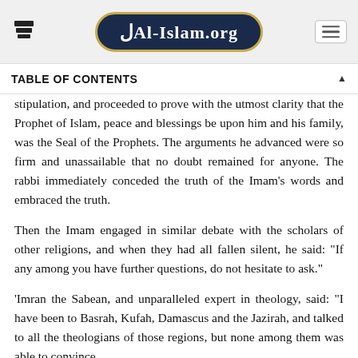Al-Islam.org
TABLE OF CONTENTS
stipulation, and proceeded to prove with the utmost clarity that the Prophet of Islam, peace and blessings be upon him and his family, was the Seal of the Prophets. The arguments he advanced were so firm and unassailable that no doubt remained for anyone. The rabbi immediately conceded the truth of the Imam's words and embraced the truth.
Then the Imam engaged in similar debate with the scholars of other religions, and when they had all fallen silent, he said: "If any among you have further questions, do not hesitate to ask."
'Imran the Sabean, and unparalleled expert in theology, said: "I have been to Basrah, Kufah, Damascus and the Jazirah, and talked to all the theologians of those regions, but none among them was able to convince